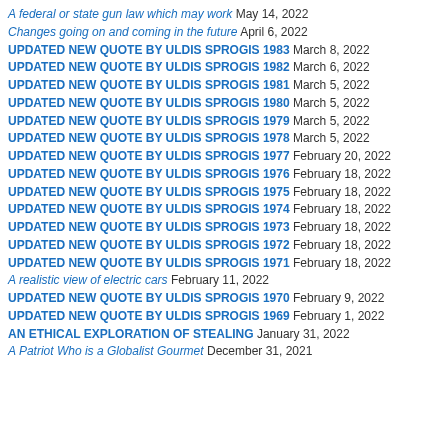A federal or state gun law which may work May 14, 2022
Changes going on and coming in the future April 6, 2022
UPDATED NEW QUOTE BY ULDIS SPROGIS 1983 March 8, 2022
UPDATED NEW QUOTE BY ULDIS SPROGIS 1982 March 6, 2022
UPDATED NEW QUOTE BY ULDIS SPROGIS 1981 March 5, 2022
UPDATED NEW QUOTE BY ULDIS SPROGIS 1980 March 5, 2022
UPDATED NEW QUOTE BY ULDIS SPROGIS 1979 March 5, 2022
UPDATED NEW QUOTE BY ULDIS SPROGIS 1978 March 5, 2022
UPDATED NEW QUOTE BY ULDIS SPROGIS 1977 February 20, 2022
UPDATED NEW QUOTE BY ULDIS SPROGIS 1976 February 18, 2022
UPDATED NEW QUOTE BY ULDIS SPROGIS 1975 February 18, 2022
UPDATED NEW QUOTE BY ULDIS SPROGIS 1974 February 18, 2022
UPDATED NEW QUOTE BY ULDIS SPROGIS 1973 February 18, 2022
UPDATED NEW QUOTE BY ULDIS SPROGIS 1972 February 18, 2022
UPDATED NEW QUOTE BY ULDIS SPROGIS 1971 February 18, 2022
A realistic view of electric cars February 11, 2022
UPDATED NEW QUOTE BY ULDIS SPROGIS 1970 February 9, 2022
UPDATED NEW QUOTE BY ULDIS SPROGIS 1969 February 1, 2022
AN ETHICAL EXPLORATION OF STEALING January 31, 2022
A Patriot Who is a Globalist Gourmet December 31, 2021